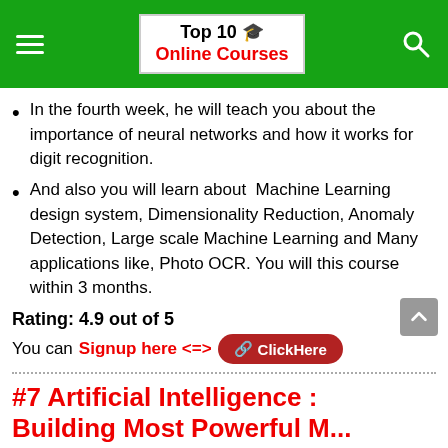Top 10 🎓 Online Courses
In the fourth week, he will teach you about the importance of neural networks and how it works for digit recognition.
And also you will learn about  Machine Learning design system, Dimensionality Reduction, Anomaly Detection, Large scale Machine Learning and Many applications like, Photo OCR. You will this course within 3 months.
Rating: 4.9 out of 5
You can Signup here <=> ClickHere
#7 Artificial Intelligence : Building Most Powerful M...